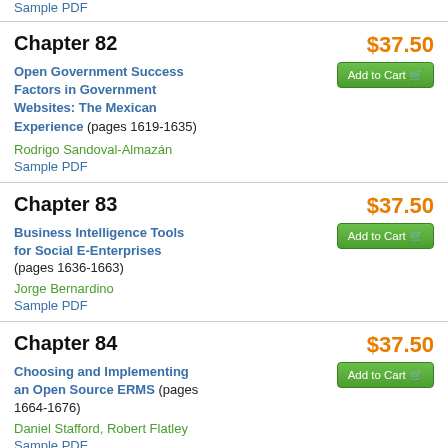Sample PDF
Chapter 82
$37.50
Add to Cart
Open Government Success Factors in Government Websites: The Mexican Experience (pages 1619-1635)
Rodrigo Sandoval-Almazán
Sample PDF
Chapter 83
$37.50
Add to Cart
Business Intelligence Tools for Social E-Enterprises (pages 1636-1663)
Jorge Bernardino
Sample PDF
Chapter 84
$37.50
Add to Cart
Choosing and Implementing an Open Source ERMS (pages 1664-1676)
Daniel Stafford, Robert Flatley
Sample PDF